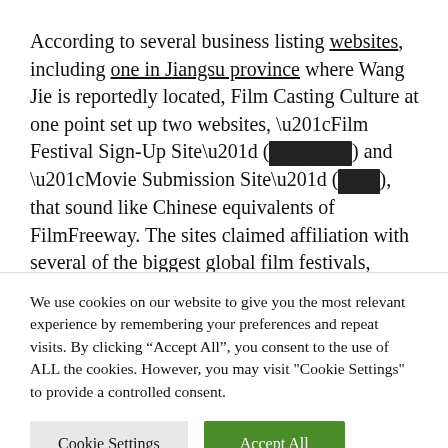According to several business listing websites, including one in Jiangsu province where Wang Jie is reportedly located, Film Casting Culture at one point set up two websites, “Film Festival Sign-Up Site” (█ █████) and “Movie Submission Site” (███), that sound like Chinese equivalents of FilmFreeway. The sites claimed affiliation with several of the biggest global film festivals, including the Oscars, Cannes, and the BAFTAs — but neither is now
We use cookies on our website to give you the most relevant experience by remembering your preferences and repeat visits. By clicking “Accept All”, you consent to the use of ALL the cookies. However, you may visit "Cookie Settings" to provide a controlled consent.